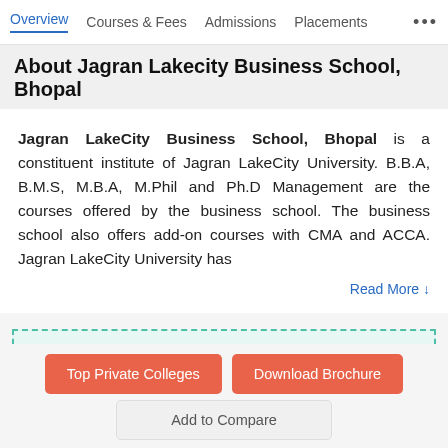Overview | Courses & Fees | Admissions | Placements | ...
About Jagran Lakecity Business School, Bhopal
Jagran LakeCity Business School, Bhopal is a constituent institute of Jagran LakeCity University. B.B.A, B.M.S, M.B.A, M.Phil and Ph.D Management are the courses offered by the business school. The business school also offers add-on courses with CMA and ACCA. Jagran LakeCity University has
Read More ↓
Latest Update for Jagran Lakecity Business School, Bhopal
Top Private Colleges
Download Brochure
Add to Compare